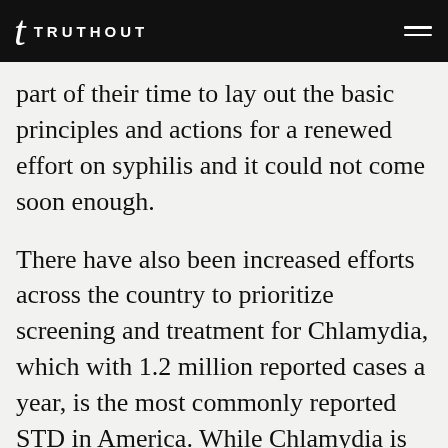TRUTHOUT
part of their time to lay out the basic principles and actions for a renewed effort on syphilis and it could not come soon enough.
There have also been increased efforts across the country to prioritize screening and treatment for Chlamydia, which with 1.2 million reported cases a year, is the most commonly reported STD in America. While Chlamydia is easily diagnosed and treated, too many cases go undetected and Chlamydia is one of the primary culprits behind the estimated 24,000 women